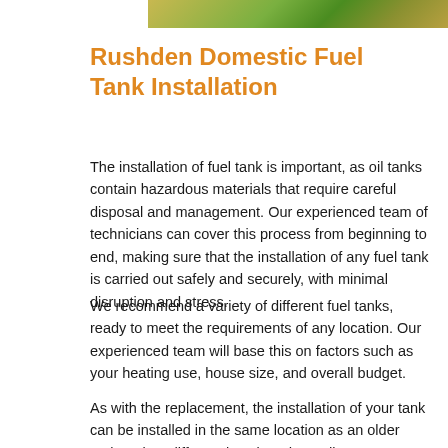[Figure (photo): Partial photo strip showing what appears to be a fuel tank or outdoor equipment with green and golden colors]
Rushden Domestic Fuel Tank Installation
The installation of fuel tank is important, as oil tanks contain hazardous materials that require careful disposal and management. Our experienced team of technicians can cover this process from beginning to end, making sure that the installation of any fuel tank is carried out safely and securely, with minimal disruption and stress.
We recommend a variety of different fuel tanks, ready to meet the requirements of any location. Our experienced team will base this on factors such as your heating use, house size, and overall budget.
As with the replacement, the installation of your tank can be installed in the same location as an older tank, or in a different location, depending on your requirements. After the installation, the oil tank will be covered by an OFTEC